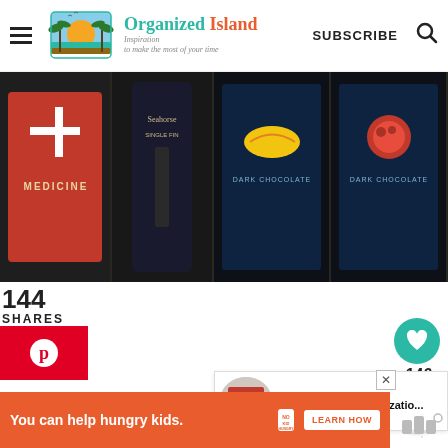[Figure (screenshot): Organized Island website header with hamburger menu, logo (palm trees and sunset), brand name 'Organized Island', tagline 'Inspiration to make the most of your time', SUBSCRIBE button, and search icon]
[Figure (photo): Flat lay photo showing medicine tin, bottle labeled Seahorse Single Fin, two dark chocolate bars with fruit imagery (banana, raspberry/strawberry), and a gray tech case/bag on a dark wooden surface]
144
SHARES
[Figure (screenshot): Pinterest share button (red background, white P icon)]
[Figure (screenshot): Heart/like button (teal circle) with count 146 and share button below]
[Figure (screenshot): What's Next panel: small circular thumbnail, label 'WHAT'S NEXT ->', title 'Small Kitchen Organizatio...']
[Figure (screenshot): Orange ad banner: 'You can help hungry kids.' with No Kid Hungry logo and 'LEARN HOW' button, close X, and Tailwind logo on right]